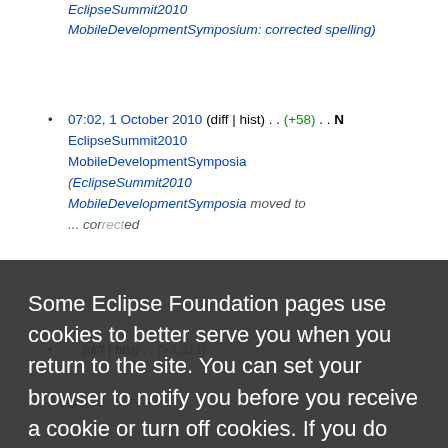EclipseSummit2010 MobileDevelopmentSymposium: corrected spelling)
07:02, 1 October 2010 (diff | hist) . . (+58) . . N EclipseSummit2010 MobileDevelopmentSymposia (EclipseSummit2010 MobileDevelopmentSymposia moved to ... corrected spelling)
Some Eclipse Foundation pages use cookies to better serve you when you return to the site. You can set your browser to notify you before you receive a cookie or turn off cookies. If you do so, however, some areas of some sites may not function properly. To read Eclipse Foundation Privacy Policy click here.
Decline
Allow cookies